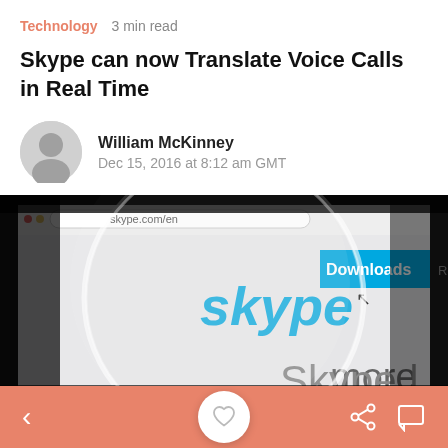Technology   3 min read
Skype can now Translate Voice Calls in Real Time
William McKinney
Dec 15, 2016 at 8:12 am GMT
[Figure (photo): Magnifying glass over Skype website homepage showing the Skype logo and a blue Downloads button at skype.com/en]
Navigation bar with back arrow, share icon, and comment icon